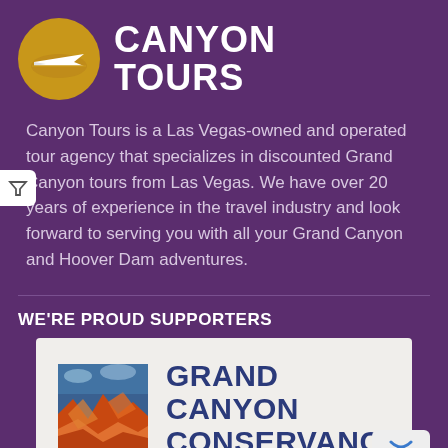[Figure (logo): Canyon Tours logo: gold circle with white plane/canyon silhouette, white bold text CANYON TOURS]
Canyon Tours is a Las Vegas-owned and operated tour agency that specializes in discounted Grand Canyon tours from Las Vegas. We have over 20 years of experience in the travel industry and look forward to serving you with all your Grand Canyon and Hoover Dam adventures.
WE'RE PROUD SUPPORTERS
[Figure (logo): Grand Canyon Conservancy logo: colorful canyon illustration on left, dark blue text GRAND CANYON CONSERVANCY on right, on light beige background]
We are proud to be...